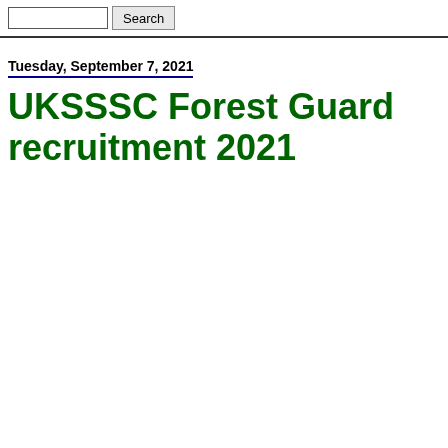Search
Tuesday, September 7, 2021
UKSSSC Forest Guard recruitment 2021